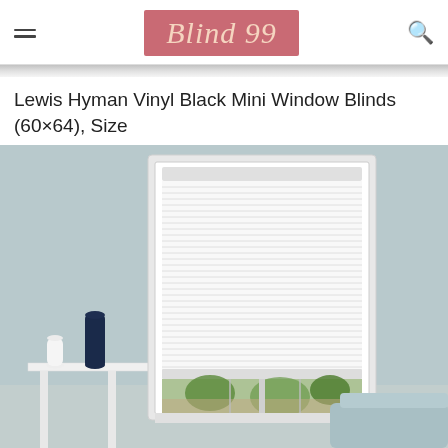Blind 99
Lewis Hyman Vinyl Black Mini Window Blinds (60×64), Size
[Figure (photo): Room scene showing white horizontal mini blinds installed in a white-framed window against a light blue-gray wall. A dark navy vase and a white ceramic vase sit on a white side table to the left. A light blue couch is partially visible at the bottom right. The window shows a garden view through the partially open bottom.]